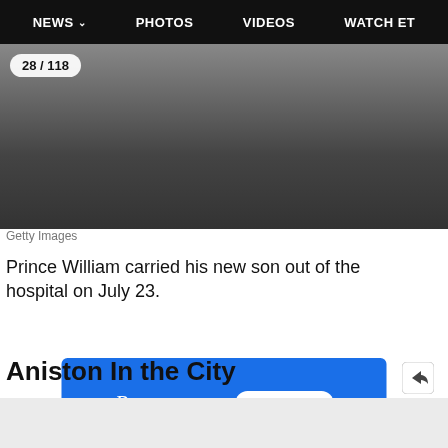NEWS  PHOTOS  VIDEOS  WATCH ET
[Figure (photo): Close-up photo showing legs/feet walking, dark tones, outdoors. Counter overlay reads 28 / 118.]
Getty Images
Prince William carried his new son out of the hospital on July 23.
[Figure (other): Paramount+ advertisement banner with blue background. Text: Paramount+ TRY IT FREE]
Aniston In the City